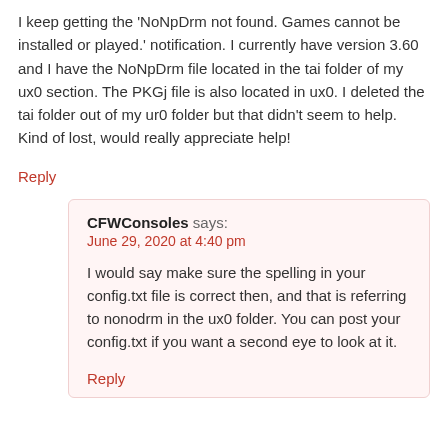I keep getting the 'NoNpDrm not found. Games cannot be installed or played.' notification. I currently have version 3.60 and I have the NoNpDrm file located in the tai folder of my ux0 section. The PKGj file is also located in ux0. I deleted the tai folder out of my ur0 folder but that didn't seem to help. Kind of lost, would really appreciate help!
Reply
CFWConsoles says:
June 29, 2020 at 4:40 pm
I would say make sure the spelling in your config.txt file is correct then, and that is referring to nonodrm in the ux0 folder. You can post your config.txt if you want a second eye to look at it.
Reply